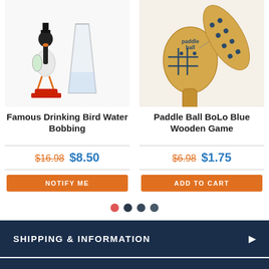[Figure (photo): Drinking bird toy with red base next to a glass of water]
[Figure (photo): Wooden paddle ball game with blue tic-tac-toe board paddle]
Famous Drinking Bird Water Bobbing
Paddle Ball BoLo Blue Wooden Game
$16.98  $8.50
$6.98  $1.75
NOTIFY ME
ADD TO CART
SHIPPING & INFORMATION
MY ACCOUNT & ORDERS